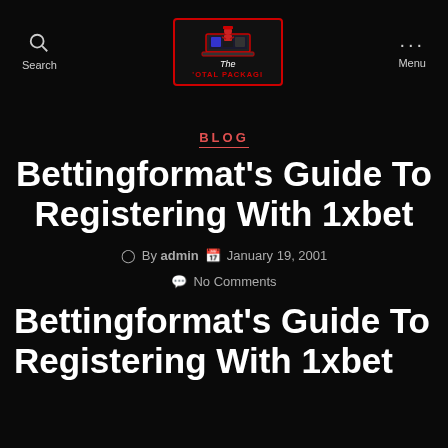Search | The Total Package Logo | Menu
BLOG
Bettingformat’s Guide To Registering With 1xbet
By admin  January 19, 2001  No Comments
Bettingformat’s Guide To Registering With 1xbet